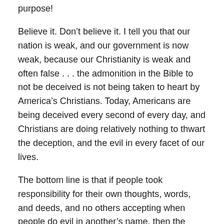purpose!
Believe it. Don't believe it. I tell you that our nation is weak, and our government is now weak, because our Christianity is weak and often false . . . the admonition in the Bible to not be deceived is not being taken to heart by America's Christians. Today, Americans are being deceived every second of every day, and Christians are doing relatively nothing to thwart the deception, and the evil in every facet of our lives.
The bottom line is that if people took responsibility for their own thoughts, words, and deeds, and no others accepting when people do evil in another's name, then the number of people saying and doing evil deeds would drop dramatically.
I would like to address one little caveat for Americans that